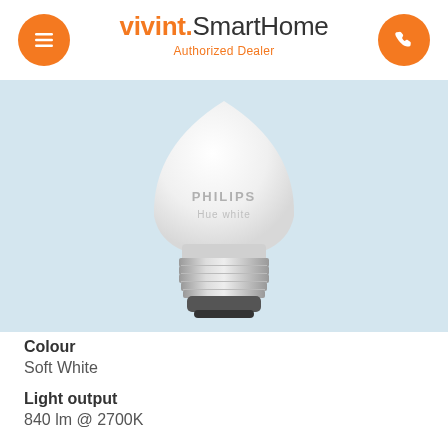vivint.SmartHome Authorized Dealer
[Figure (photo): Philips Hue White LED smart bulb with E26 base, white dome shape, metallic screw base, on light blue background]
Colour
Soft White
Light output
840 lm @ 2700K